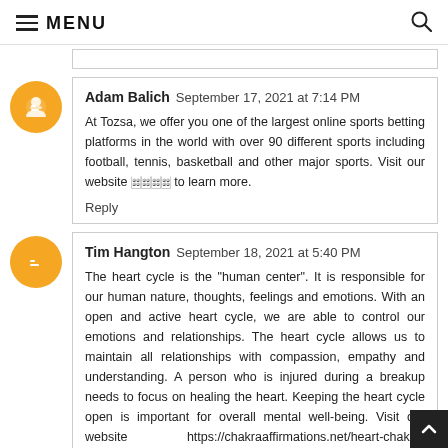≡ MENU
(partial previous comment box)
Adam Balich  September 17, 2021 at 7:14 PM

At Tozsa, we offer you one of the largest online sports betting platforms in the world with over 90 different sports including football, tennis, basketball and other major sports. Visit our website 토자사 to learn more.

Reply
Tim Hangton  September 18, 2021 at 5:40 PM

The heart cycle is the "human center". It is responsible for our human nature, thoughts, feelings and emotions. With an open and active heart cycle, we are able to control our emotions and relationships. The heart cycle allows us to maintain all relationships with compassion, empathy and understanding. A person who is injured during a breakup needs to focus on healing the heart. Keeping the heart cycle open is important for overall mental well-being. Visit our website https://chakraaffirmations.net/heart-chakra-affirmations/ to